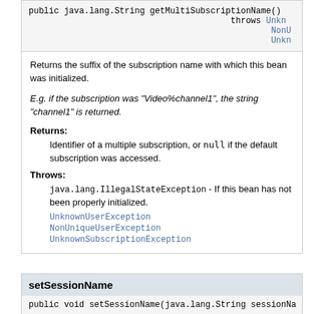public java.lang.String getMultiSubscriptionName()
                                        throws UnknownUserException,
                                               NonUniqueUserException,
                                               UnknownSubscriptionException
Returns the suffix of the subscription name with which this bean was initialized.
E.g. if the subscription was "Video%channel1", the string "channel1" is returned.
Returns:
Identifier of a multiple subscription, or null if the default subscription was accessed.
Throws:
java.lang.IllegalStateException - If this bean has not been properly initialized.
UnknownUserException
NonUniqueUserException
UnknownSubscriptionException
setSessionName
public void setSessionName(java.lang.String sessionNa